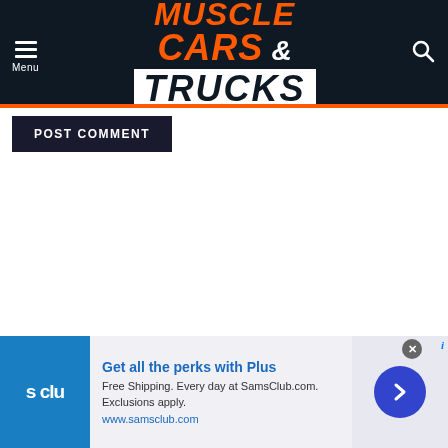Muscle Cars & Trucks
POST COMMENT
[Figure (infographic): Sam's Club advertisement: Get all the perks with Plus. Free Shipping. Every day at SamsClub.com. Exclusions apply. www.samsclub.com]